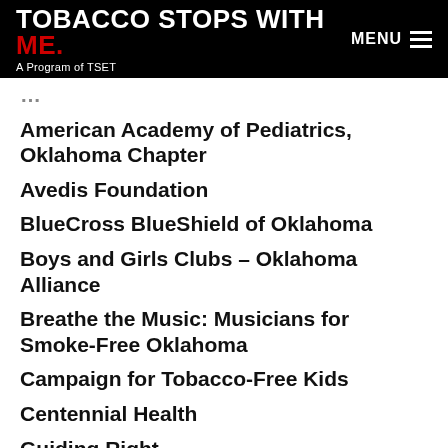TOBACCO STOPS WITH ME. A Program of TSET
American Academy of Pediatrics, Oklahoma Chapter
Avedis Foundation
BlueCross BlueShield of Oklahoma
Boys and Girls Clubs – Oklahoma Alliance
Breathe the Music: Musicians for Smoke-Free Oklahoma
Campaign for Tobacco-Free Kids
Centennial Health
Guiding Right
Fit Kids of Southwest Oklahoma
Honorable David Holt, Mayor of Oklahoma City
Honorable Lynne Miller, Mayor of Norman
Indian Health Care Resource Center of Tulsa